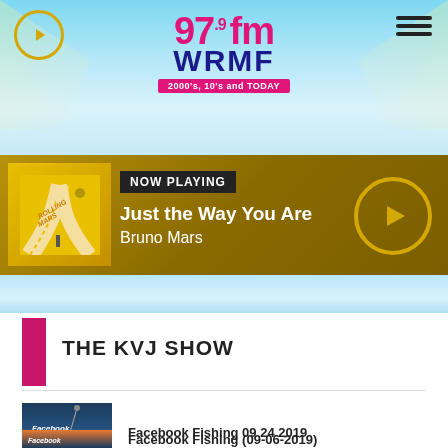[Figure (screenshot): 97.9 FM WRMF radio station website header with logo, navigation, now playing bar showing 'Just the Way You Are' by Bruno Mars, and KVJ Show podcast listing with Facebook Fishing episodes]
97.9 fm WRMF - 2000's, 10's and TODAY
NOW PLAYING
Just the Way You Are
Bruno Mars
THE KVJ SHOW
Facebook Fishing 09 24 2019
Facebook Fishing (09-06-2019)